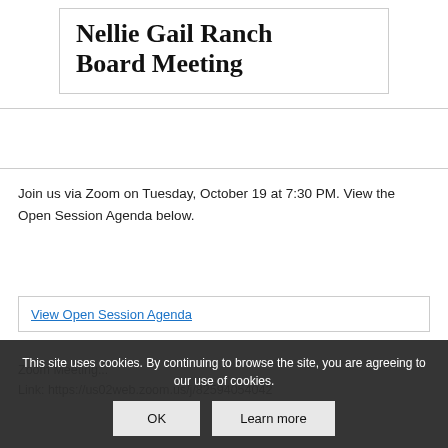Nellie Gail Ranch Board Meeting
Join us via Zoom on Tuesday, October 19 at 7:30 PM. View the Open Session Agenda below.
View Open Session Agenda
Zoom Meeting...
Link: https://us02web.zoom.us/j/82594054042
This site uses cookies. By continuing to browse the site, you are agreeing to our use of cookies.